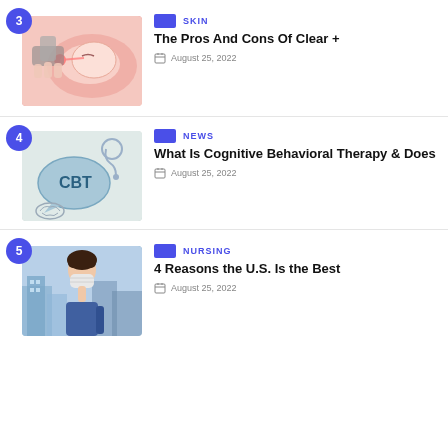3 | SKIN | The Pros And Cons Of Clear + | August 25, 2022
4 | NEWS | What Is Cognitive Behavioral Therapy & Does | August 25, 2022
5 | NURSING | 4 Reasons the U.S. Is the Best | August 25, 2022